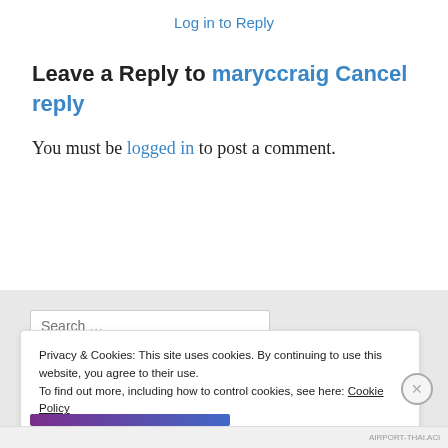Log in to Reply
Leave a Reply to maryccraig Cancel reply
You must be logged in to post a comment.
Privacy & Cookies: This site uses cookies. By continuing to use this website, you agree to their use.
To find out more, including how to control cookies, see here: Cookie Policy
Close and accept